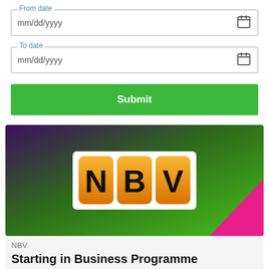From date — mm/dd/yyyy (date input field with calendar icon)
To date — mm/dd/yyyy (date input field with calendar icon)
Submit
[Figure (logo): NBV logo — three orange scrabble-tile-style squares with letters N, B, V in black, on a purple-to-green gradient banner background with pink triangle in bottom-right corner]
NBV
Starting in Business Programme